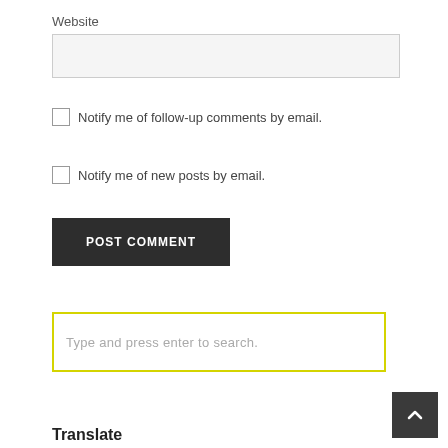Website
[Figure (screenshot): Website text input field, light grey background with border]
Notify me of follow-up comments by email.
Notify me of new posts by email.
POST COMMENT
Type and press enter to search.
Translate